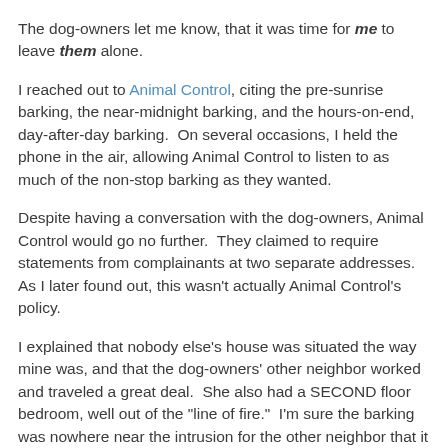The dog-owners let me know, that it was time for me to leave them alone.
I reached out to Animal Control, citing the pre-sunrise barking, the near-midnight barking, and the hours-on-end, day-after-day barking.  On several occasions, I held the phone in the air, allowing Animal Control to listen to as much of the non-stop barking as they wanted.
Despite having a conversation with the dog-owners, Animal Control would go no further.  They claimed to require statements from complainants at two separate addresses.  As I later found out, this wasn't actually Animal Control's policy.
I explained that nobody else's house was situated the way mine was, and that the dog-owners' other neighbor worked and traveled a great deal.  She also had a SECOND floor bedroom, well out of the "line of fire."  I'm sure the barking was nowhere near the intrusion for the other neighbor that it was in our house.